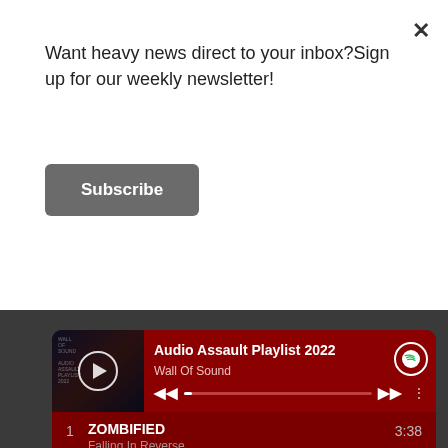Want heavy news direct to your inbox?Sign up for our weekly newsletter!
Subscribe
[Figure (screenshot): Spotify embedded player showing 'Audio Assault Playlist 2022' by Wall Of Sound with album art, playback controls, and a track listing including: 1. ZOMBIFIED by Falling In Reverse 3:38, 2. A Higher Level of Hate by Fit For An Autopsy 4:07, 3. Parted Time by Pridelands 4:24]